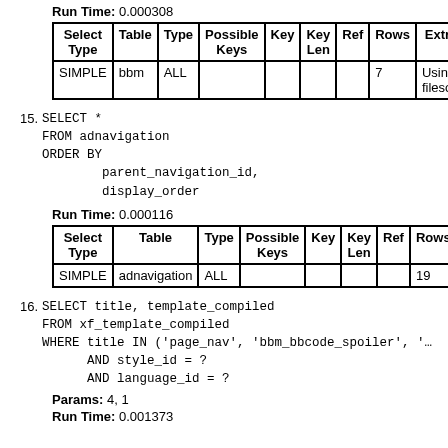Run Time: 0.000308
| Select Type | Table | Type | Possible Keys | Key | Key Len | Ref | Rows | Extra |
| --- | --- | --- | --- | --- | --- | --- | --- | --- |
| SIMPLE | bbm | ALL |  |  |  |  | 7 | Using filesort |
15. SELECT *
    FROM adnavigation
    ORDER BY
            parent_navigation_id,
            display_order
Run Time: 0.000116
| Select Type | Table | Type | Possible Keys | Key | Key Len | Ref | Rows |  |
| --- | --- | --- | --- | --- | --- | --- | --- | --- |
| SIMPLE | adnavigation | ALL |  |  |  |  | 19 |  |
16. SELECT title, template_compiled
    FROM xf_template_compiled
    WHERE title IN ('page_nav', 'bbm_bbcode_spoiler', '…
          AND style_id = ?
          AND language_id = ?
Params: 4, 1
Run Time: 0.001373